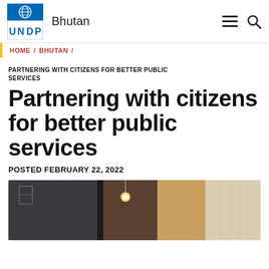UNDP Bhutan
HOME / BHUTAN /
PARTNERING WITH CITIZENS FOR BETTER PUBLIC SERVICES
Partnering with citizens for better public services
POSTED FEBRUARY 22, 2022
[Figure (photo): Interior photo showing a room with dark walls on the left, a wooden partition in the middle, a hanging light fixture, and curtains on the right side]